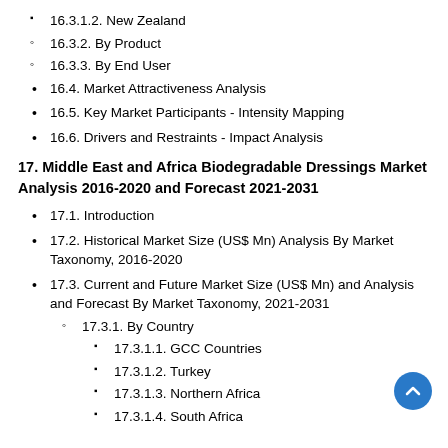16.3.1.2. New Zealand
16.3.2. By Product
16.3.3. By End User
16.4. Market Attractiveness Analysis
16.5. Key Market Participants - Intensity Mapping
16.6. Drivers and Restraints - Impact Analysis
17. Middle East and Africa Biodegradable Dressings Market Analysis 2016-2020 and Forecast 2021-2031
17.1. Introduction
17.2. Historical Market Size (US$ Mn) Analysis By Market Taxonomy, 2016-2020
17.3. Current and Future Market Size (US$ Mn) and Analysis and Forecast By Market Taxonomy, 2021-2031
17.3.1. By Country
17.3.1.1. GCC Countries
17.3.1.2. Turkey
17.3.1.3. Northern Africa
17.3.1.4. South Africa